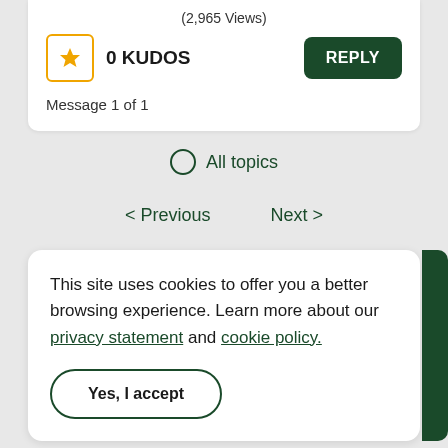(2,965 Views)
0 KUDOS
REPLY
Message 1 of 1
All topics
< Previous
Next >
This site uses cookies to offer you a better browsing experience. Learn more about our privacy statement and cookie policy.
Yes, I accept